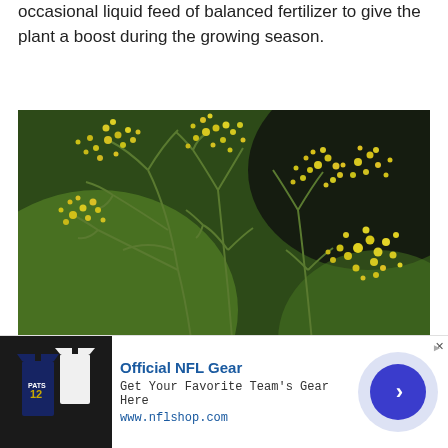occasional liquid feed of balanced fertilizer to give the plant a boost during the growing season.
[Figure (photo): Close-up photograph of dill plant in bloom with clusters of small yellow flowers on delicate green stems, set against a blurred green and dark background.]
Official NFL Gear
Get Your Favorite Team's Gear Here
www.nflshop.com